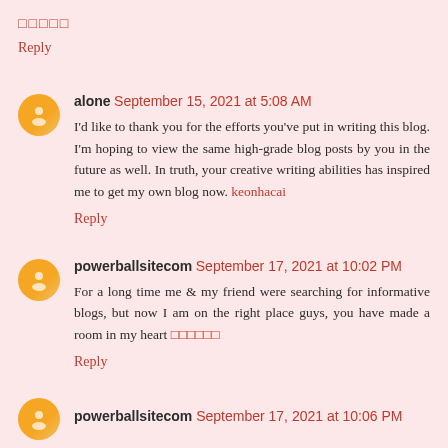□□□□□
Reply
alone  September 15, 2021 at 5:08 AM
I'd like to thank you for the efforts you've put in writing this blog. I'm hoping to view the same high-grade blog posts by you in the future as well. In truth, your creative writing abilities has inspired me to get my own blog now. keonhacai
Reply
powerballsitecom  September 17, 2021 at 10:02 PM
For a long time me & my friend were searching for informative blogs, but now I am on the right place guys, you have made a room in my heart □□□□□□
Reply
powerballsitecom  September 17, 2021 at 10:06 PM